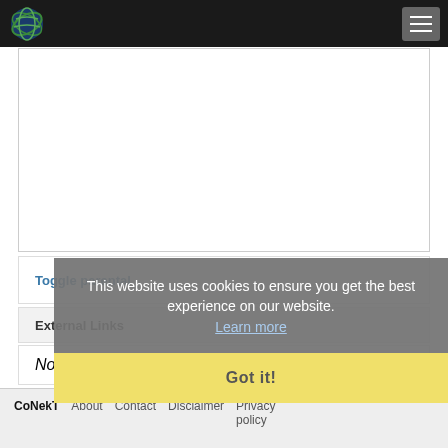CoNekT [logo] [hamburger menu]
[Figure (other): White content area box with border]
Toggle parental
External Links
No external refs found!
This website uses cookies to ensure you get the best experience on our website. Learn more
Got it!
CoNekT  About  Contact  Disclaimer  Privacy policy